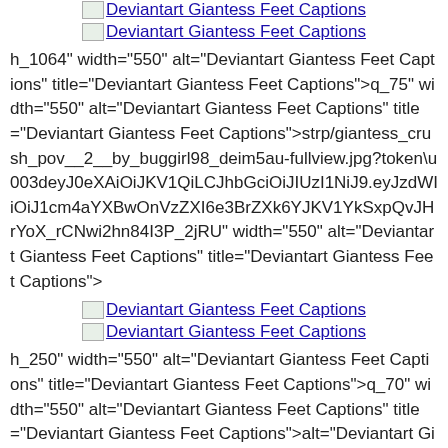[Figure (other): Broken image icon link labeled 'Deviantart Giantess Feet Captions' (top, partially visible)]
[Figure (other): Broken image icon link labeled 'Deviantart Giantess Feet Captions']
h_1064" width="550" alt="Deviantart Giantess Feet Captions" title="Deviantart Giantess Feet Captions">q_75" width="550" alt="Deviantart Giantess Feet Captions" title="Deviantart Giantess Feet Captions">strp/giantess_crush_pov__2__by_buggirl98_deim5au-fullview.jpg?token\u003deyJ0eXAiOiJKV1QiLCJhbGciOiJIUzI1NiJ9.eyJzdWIiOiJ1cm4aYXBwOnVzZXI6e3BrZXk6YJKV1YkSxpQvJHrYoX_rCNwi2hn84I3P_2jRU" width="550" alt="Deviantart Giantess Feet Captions" title="Deviantart Giantess Feet Captions">
[Figure (other): Broken image icon link labeled 'Deviantart Giantess Feet Captions']
[Figure (other): Broken image icon link labeled 'Deviantart Giantess Feet Captions']
h_250" width="550" alt="Deviantart Giantess Feet Captions" title="Deviantart Giantess Feet Captions">q_70" width="550" alt="Deviantart Giantess Feet Captions" title="Deviantart Giantess Feet Captions">alt="Deviantart Giantess Feet Captions" title="Deviantart